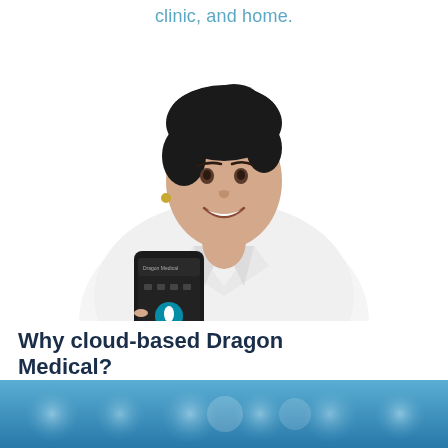clinic, and home.
[Figure (photo): A smiling female doctor in a white lab coat holding up a smartphone displaying the Dragon Medical app interface]
Why cloud-based Dragon Medical?
Enhanced performance and flexibility with your EHR
[Figure (photo): Blue gradient background with soft glowing circular light bokeh effects, decorative bottom banner image]